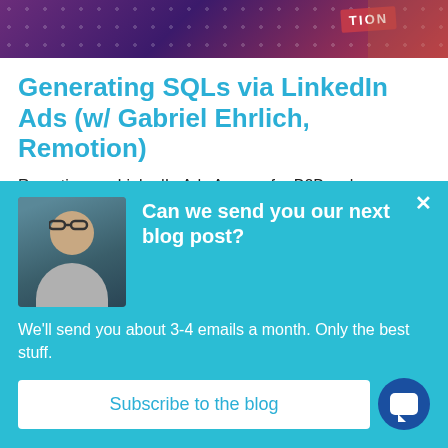[Figure (photo): Banner image with purple/red gradient background with dot pattern and 'TION' badge text visible, with a person's arm on the right side.]
Generating SQLs via LinkedIn Ads (w/ Gabriel Ehrlich, Remotion)
Remotion – a LinkedIn Ads Agency for B2B – shares insights on how to generate SQLs using LinkedIn Ads.
METRICS & CHILL PODCAST  |  AUG 3
[Figure (photo): Popup overlay with teal/cyan background showing a man with glasses and beard, with heading 'Can we send you our next blog post?' and subscribe button.]
Can we send you our next blog post?
We'll send you about 3-4 emails a month. Only the best stuff.
Subscribe to the blog